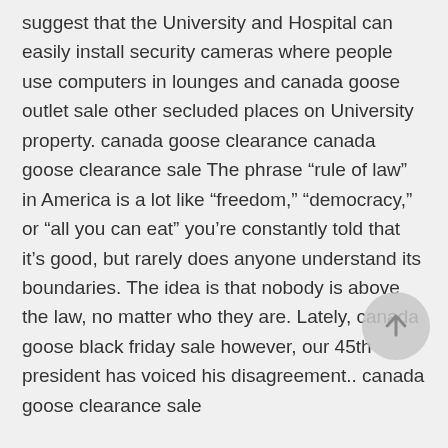suggest that the University and Hospital can easily install security cameras where people use computers in lounges and canada goose outlet sale other secluded places on University property. canada goose clearance canada goose clearance sale The phrase "rule of law" in America is a lot like "freedom," "democracy," or "all you can eat" you're constantly told that it's good, but rarely does anyone understand its boundaries. The idea is that nobody is above the law, no matter who they are. Lately, canada goose black friday sale however, our 45th president has voiced his disagreement.. canada goose clearance sale
canada goose coats on sale But that not good enough for the petulant Professor Ceiling Cat. First of all, it misleads the public in how rumor...